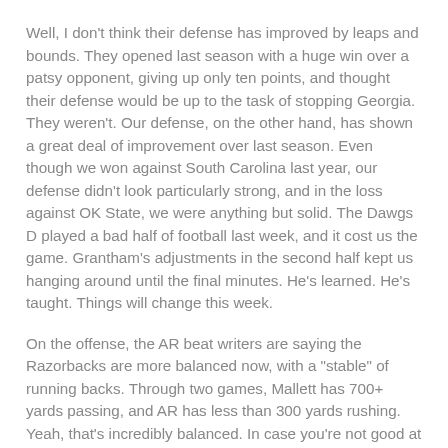Well, I don't think their defense has improved by leaps and bounds. They opened last season with a huge win over a patsy opponent, giving up only ten points, and thought their defense would be up to the task of stopping Georgia. They weren't. Our defense, on the other hand, has shown a great deal of improvement over last season. Even though we won against South Carolina last year, our defense didn't look particularly strong, and in the loss against OK State, we were anything but solid. The Dawgs D played a bad half of football last week, and it cost us the game. Grantham's adjustments in the second half kept us hanging around until the final minutes. He's learned. He's taught. Things will change this week.
On the offense, the AR beat writers are saying the Razorbacks are more balanced now, with a "stable" of running backs. Through two games, Mallett has 700+ yards passing, and AR has less than 300 yards rushing. Yeah, that's incredibly balanced. In case you're not good at math, that's over 70% of the offensive production from the pass.